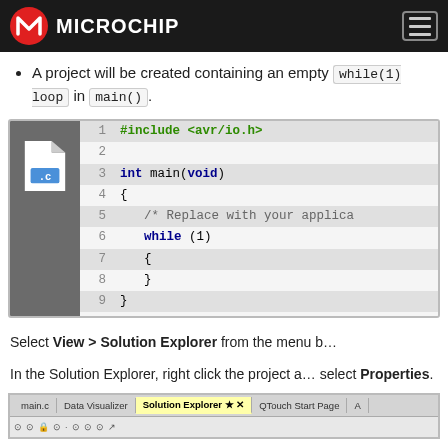Microchip
A project will be created containing an empty while(1) loop in main().
[Figure (screenshot): Code editor showing a .c file with #include <avr/io.h>, int main(void), and a while(1) loop body]
Select View > Solution Explorer from the menu b...
In the Solution Explorer, right click the project a... select Properties.
[Figure (screenshot): Bottom screenshot showing IDE tab bar with main.c, Data Visualizer, Solution Explorer, QTouch Start Page tabs and toolbar]